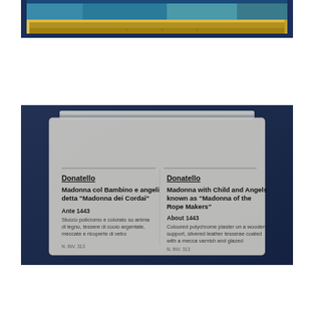[Figure (photo): Photograph of the bottom portion of a gilded-framed artwork (Madonna painting) displayed against a dark blue museum background. The ornate gold frame is prominently visible.]
[Figure (photo): Photograph of a museum label card in a translucent holder, displayed against a dark blue background. The label shows bilingual (Italian/English) information about Donatello's 'Madonna with Child and Angels known as Madonna of the Rope Makers', dated About 1443.]